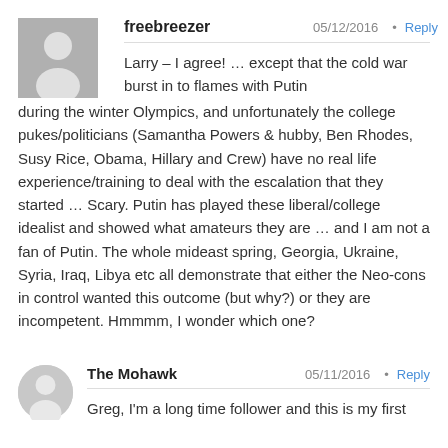freebreezer — 05/12/2016 • Reply
Larry – I agree!  … except that the cold war burst in to flames with Putin during the winter Olympics, and unfortunately the college pukes/politicians (Samantha Powers & hubby, Ben Rhodes, Susy Rice, Obama, Hillary and Crew) have no real life experience/training to deal with the escalation that they started … Scary. Putin has played these liberal/college idealist and showed what amateurs they are … and I am not a fan of Putin. The whole mideast spring, Georgia, Ukraine, Syria, Iraq, Libya etc all demonstrate that either the Neo-cons in control wanted this outcome (but why?) or they are incompetent. Hmmmm, I wonder which one?
The Mohawk — 05/11/2016 • Reply
Greg, I'm a long time follower and this is my first